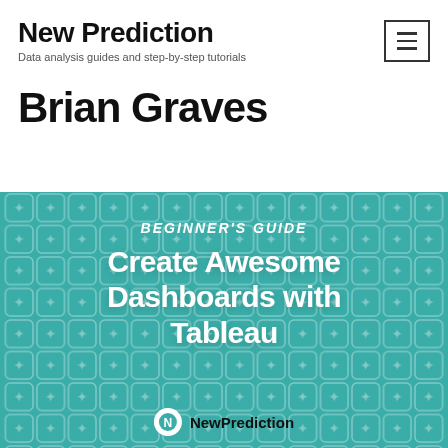New Prediction
Data analysis guides and step-by-step tutorials
Brian Graves
[Figure (illustration): Teal/turquoise promotional image with icon grid background. Text reads 'BEGINNER'S GUIDE' in italic bold, then 'Create Awesome Dashboards with Tableau' in large white bold text. Bottom shows NewPrediction logo and brand name.]